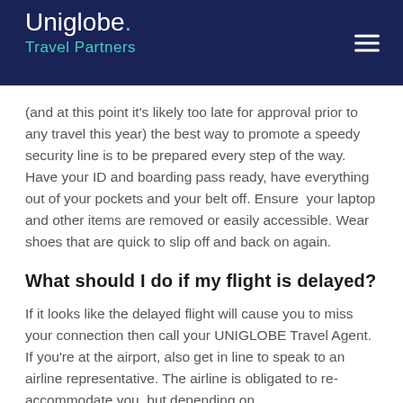Uniglobe. Travel Partners
(and at this point it's likely too late for approval prior to any travel this year) the best way to promote a speedy security line is to be prepared every step of the way. Have your ID and boarding pass ready, have everything out of your pockets and your belt off. Ensure  your laptop and other items are removed or easily accessible. Wear shoes that are quick to slip off and back on again.
What should I do if my flight is delayed?
If it looks like the delayed flight will cause you to miss your connection then call your UNIGLOBE Travel Agent. If you're at the airport, also get in line to speak to an airline representative. The airline is obligated to re-accommodate you, but depending on